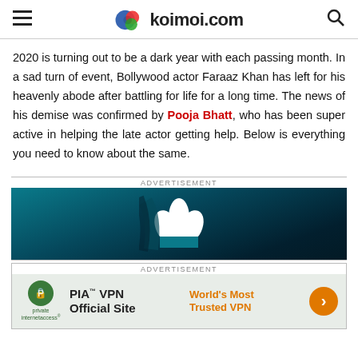koimoi.com
2020 is turning out to be a dark year with each passing month. In a sad turn of event, Bollywood actor Faraaz Khan has left for his heavenly abode after battling for life for a long time. The news of his demise was confirmed by Pooja Bhatt, who has been super active in helping the late actor getting help. Below is everything you need to know about the same.
[Figure (other): Advertisement block showing Adidas logo (white trefoil on dark teal/blue background)]
[Figure (other): PIA VPN advertisement: Private Internet Access logo, PIA VPN Official Site text, World's Most Trusted VPN tagline, orange arrow button]